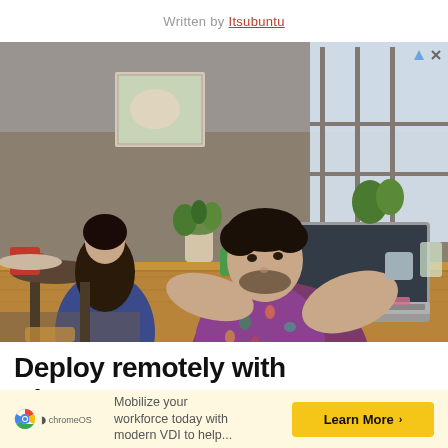Written by Itsubuntu
[Figure (photo): A man in a colorful floral shirt working on a laptop at a wooden desk in a cafe setting. A woman sits in the background. Natural light from large windows. Plants visible on the desk and windowsill.]
Deploy remotely with ChromeOS
Mobilize your workforce today with modern VDI to help...
[Figure (logo): ChromeOS logo - colored circle icon with 'chromeOS' text]